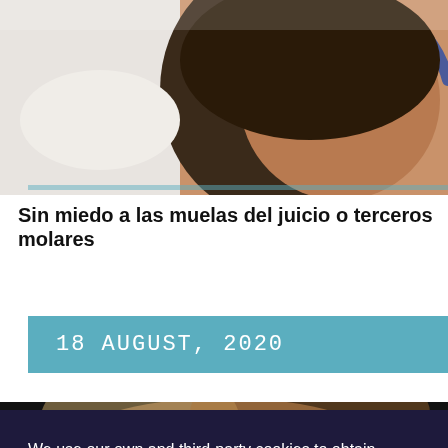[Figure (photo): Close-up photo of a dentist or medical professional treating a patient; the patient is lying down and the professional is working near the patient's face/mouth area. A blue stethoscope or tube is visible. Clinical setting.]
Sin miedo a las muelas del juicio o terceros molares
18 AUGUST, 2020
[Figure (photo): Photo of a young woman's face, dark background, partially visible at the bottom of the page behind the cookie consent overlay.]
We use our own and third-party cookies to obtain statistical data on the navigation of our users and improve our services. If you accept or continue browsing, we consider that you accept its use. You can get more information here